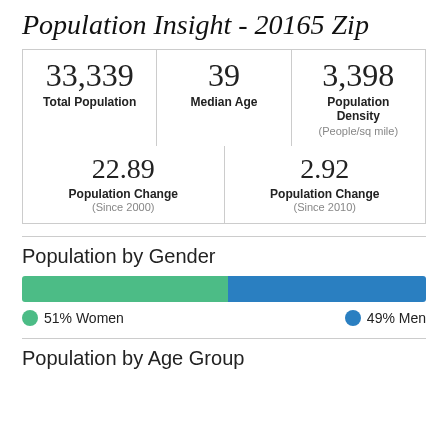Population Insight - 20165 Zip
| Total Population | Median Age | Population Density (People/sq mile) |
| --- | --- | --- |
| 33,339 | 39 | 3,398 |
| Population Change (Since 2000) | Population Change (Since 2010) |
| --- | --- |
| 22.89 | 2.92 |
Population by Gender
[Figure (stacked-bar-chart): Population by Gender]
51% Women    49% Men
Population by Age Group